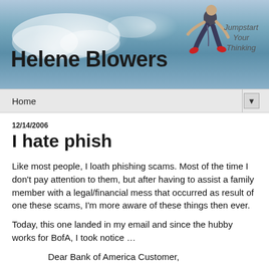[Figure (illustration): Blog header banner with sky/clouds background, large bold text 'Helene Blowers', a figure of a person jumping/floating, and italic tagline 'Jumpstart Your Thinking']
Home ▼
12/14/2006
I hate phish
Like most people, I loath phishing scams. Most of the time I don't pay attention to them, but after having to assist a family member with a legal/financial mess that occurred as result of one these scams, I'm more aware of these things then ever.
Today, this one landed in my email and since the hubby works for BofA, I took notice …
Dear Bank of America Customer,
Due to the recent phishing attacks targeting Bank of America we are currently launching a new...